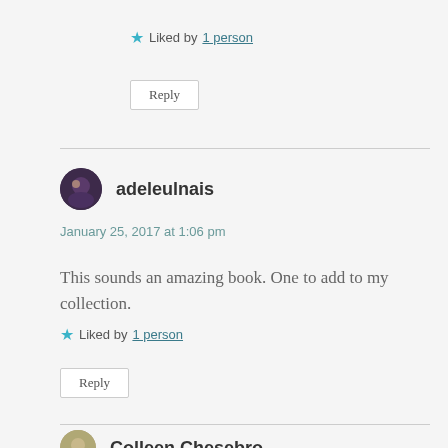Liked by 1 person
Reply
adeleulnais
January 25, 2017 at 1:06 pm
This sounds an amazing book. One to add to my collection.
Liked by 1 person
Reply
Colleen Chesebro…